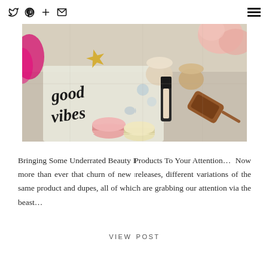Twitter Pinterest + Mail icons | Hamburger menu
[Figure (photo): Flat lay of beauty products including makeup, macarons, sunglasses, a gold star, and a notebook with 'Good Vibes' text, with a pink flower in the background]
Bringing Some Underrated Beauty Products To Your Attention… Now more than ever that churn of new releases, different variations of the same product and dupes, all of which are grabbing our attention via the beast…
VIEW POST